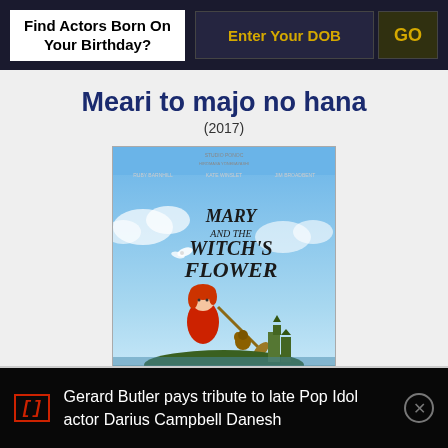Find Actors Born On Your Birthday?
Enter Your DOB
GO
Meari to majo no hana
(2017)
[Figure (photo): Movie poster for Mary and the Witch's Flower (Meari to majo no hana, 2017), showing an anime-style girl with red hair holding a broom, flying over a landscape with a castle in the background and a white bird/flower, with text 'Mary and the Witch's Flower' in stylized lettering on a blue sky background.]
Gerard Butler pays tribute to late Pop Idol actor Darius Campbell Danesh